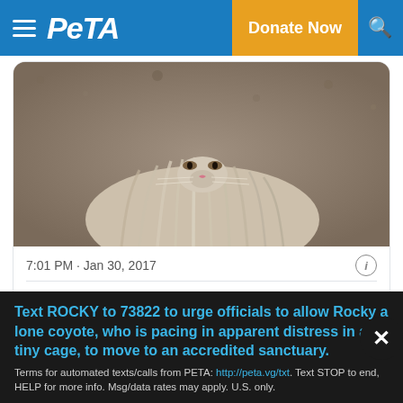PETA — Donate Now
[Figure (photo): Close-up photo of a long-haired cat lying on a dirt/gravel surface, showing the cat's fluffy chest and face]
7:01 PM · Jan 30, 2017
274  Reply  Copy link
Read 14 replies
Outdoors, they're vulnerable to contagious diseases,
Text ROCKY to 73822 to urge officials to allow Rocky a lone coyote, who is pacing in apparent distress in a tiny cage, to move to an accredited sanctuary.
Terms for automated texts/calls from PETA: http://peta.vg/txt. Text STOP to end, HELP for more info. Msg/data rates may apply. U.S. only.